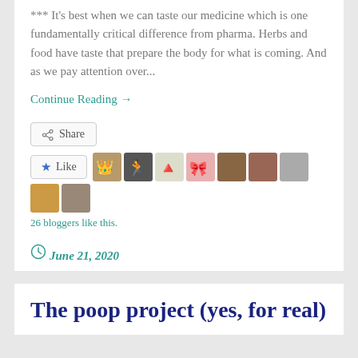*** It's best when we can taste our medicine which is one fundamentally critical difference from pharma. Herbs and food have taste that prepare the body for what is coming. And as we pay attention over...
Continue Reading →
Share
Like
26 bloggers like this.
June 21, 2020
The poop project (yes, for real)